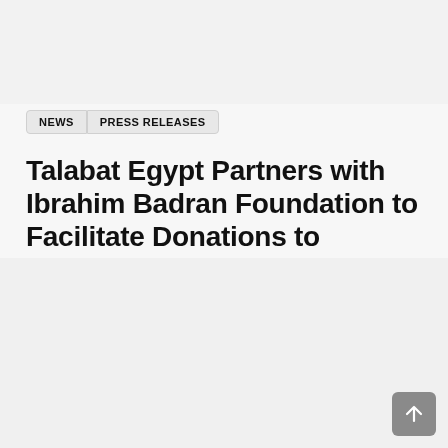NEWS  PRESS RELEASES
Talabat Egypt Partners with Ibrahim Badran Foundation to Facilitate Donations to Healthcare in Remote Villages